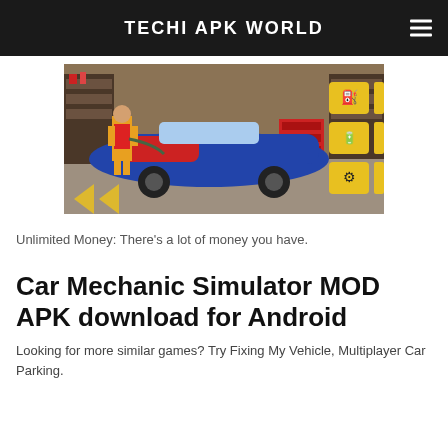TECHI APK WORLD
[Figure (screenshot): Car Mechanic Simulator game screenshot showing a mechanic in yellow and red outfit using a tool on a blue and red sports car in a garage, with yellow icon buttons on the right side for fuel, battery, car, tire, and headlight.]
Unlimited Money: There's a lot of money you have.
Car Mechanic Simulator MOD APK download for Android
Looking for more similar games? Try Fixing My Vehicle, Multiplayer Car Parking.